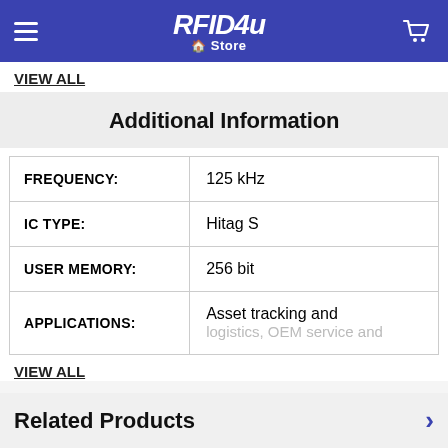RFID4u Store
VIEW ALL
Additional Information
|  |  |
| --- | --- |
| FREQUENCY: | 125 kHz |
| IC TYPE: | Hitag S |
| USER MEMORY: | 256 bit |
| APPLICATIONS: | Asset tracking and logistics, OEM service and |
VIEW ALL
Related Products